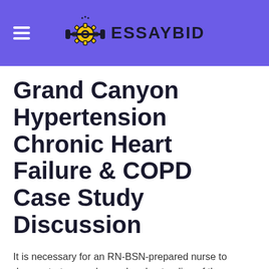EssayBid
Grand Canyon Hypertension Chronic Heart Failure & COPD Case Study Discussion
It is necessary for an RN-BSN-prepared nurse to demonstrate an enhanced understanding of the pathophysiological processes of disease, the clinical manifestations and treatment protocols, and how they affect clients across the life span.